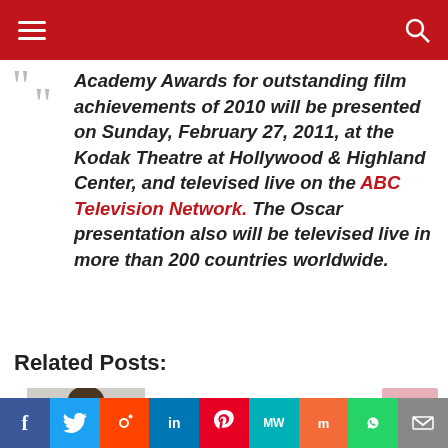Navigation bar with hamburger menu and search icon
Academy Awards for outstanding film achievements of 2010 will be presented on Sunday, February 27, 2011, at the Kodak Theatre at Hollywood & Highland Center, and televised live on the ABC Television Network. The Oscar presentation also will be televised live in more than 200 countries worldwide.
Related Posts:
[Photo of person - James Franco]
Social share bar: Facebook, Twitter, Reddit, LinkedIn, Pinterest, MeWe, Mix, WhatsApp, Share